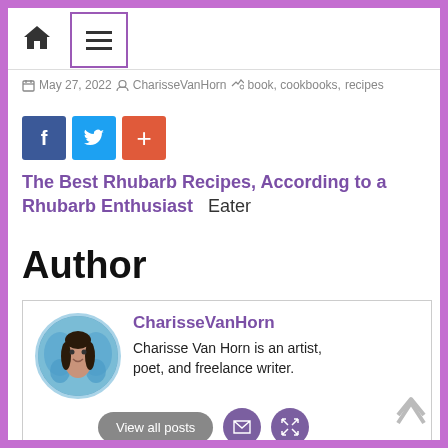Home | Menu
May 27, 2022  CharisseVanHorn  book, cookbooks, recipes
[Figure (infographic): Social share buttons: Facebook (f), Twitter (bird), and a plus (+) share button]
The Best Rhubarb Recipes, According to a Rhubarb Enthusiast  Eater
Author
CharisseVanHorn
Charisse Van Horn is an artist, poet, and freelance writer.
View all posts